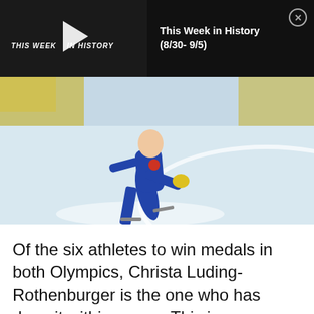[Figure (screenshot): Video thumbnail showing 'This Week in History' with a speed skater in a blue suit on an ice rink. A black bar with the title 'This Week in History (8/30- 9/5)' and a close button appears in the top right. A play button is overlaid on the video thumbnail.]
Of the six athletes to win medals in both Olympics, Christa Luding-Rothenburger is the one who has done it within a year. This is a